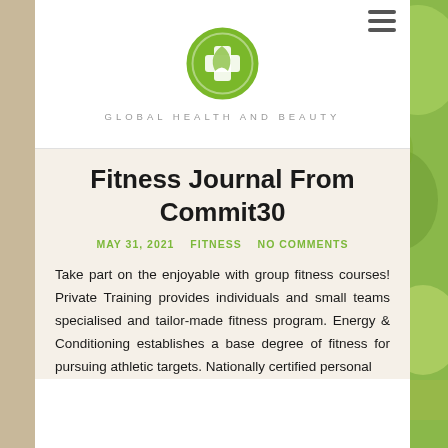[Figure (logo): Green circular logo with a white medical cross and leaf/plant design inside, for Global Health and Beauty]
GLOBAL HEALTH AND BEAUTY
Fitness Journal From Commit30
MAY 31, 2021  FITNESS  NO COMMENTS
Take part on the enjoyable with group fitness courses! Private Training provides individuals and small teams specialised and tailor-made fitness program. Energy & Conditioning establishes a base degree of fitness for pursuing athletic targets. Nationally certified personal